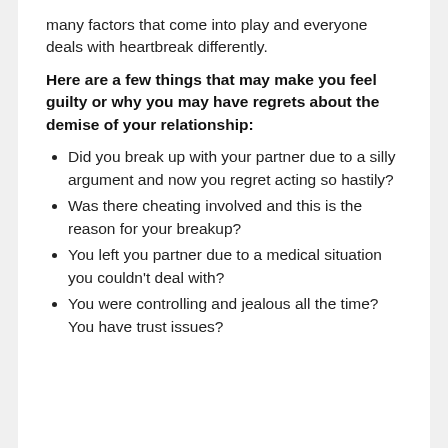many factors that come into play and everyone deals with heartbreak differently.
Here are a few things that may make you feel guilty or why you may have regrets about the demise of your relationship:
Did you break up with your partner due to a silly argument and now you regret acting so hastily?
Was there cheating involved and this is the reason for your breakup?
You left you partner due to a medical situation you couldn't deal with?
You were controlling and jealous all the time? You have trust issues?